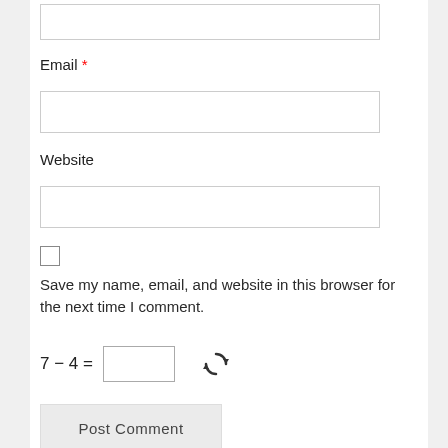Email *
[Figure (screenshot): Empty text input box for Email field]
Website
[Figure (screenshot): Empty text input box for Website field]
[Figure (screenshot): Unchecked checkbox]
Save my name, email, and website in this browser for the next time I comment.
[Figure (screenshot): Small text input for captcha answer and a refresh/reload icon]
[Figure (screenshot): Post Comment button]